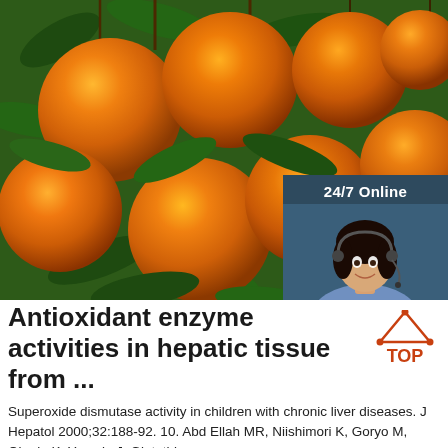[Figure (photo): Photo of oranges/citrus fruits hanging on a tree with green leaves. An advertisement overlay in the top-right shows '24/7 Online', a woman with a headset, 'Click here for free chat!', and an orange QUOTATION button.]
Antioxidant enzyme activities in hepatic tissue from ...
Superoxide dismutase activity in children with chronic liver diseases. J Hepatol 2000;32:188-92. 10. Abd Ellah MR, Niishimori K, Goryo M, Okada K, Yasuda J, Glutathione